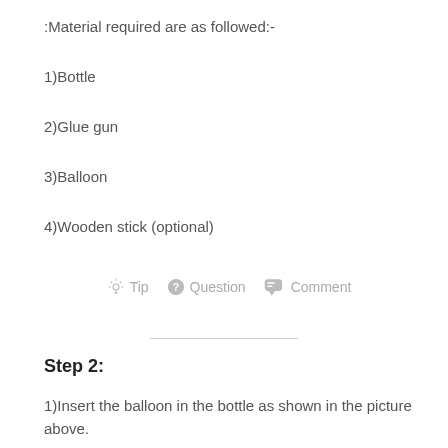:Material required are as followed:-
1)Bottle
2)Glue gun
3)Balloon
4)Wooden stick (optional)
Tip   Question   Comment
Step 2:
1)Insert the balloon in the bottle as shown in the picture above.